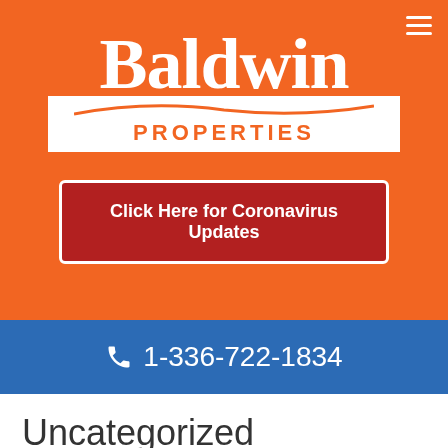[Figure (logo): Baldwin Properties logo — white text on orange background with swoosh and white box containing 'PROPERTIES' in orange]
Click Here for Coronavirus Updates
📞 1-336-722-1834
Uncategorized
Lou Baldwin Awarded Bob